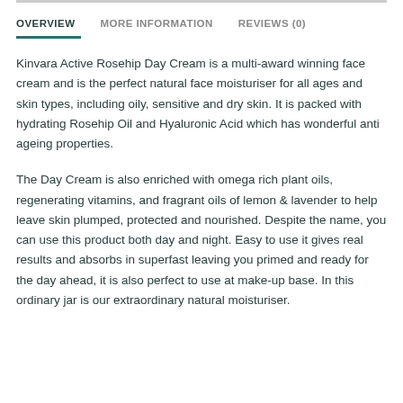OVERVIEW   MORE INFORMATION   REVIEWS (0)
Kinvara Active Rosehip Day Cream is a multi-award winning face cream and is the perfect natural face moisturiser for all ages and skin types, including oily, sensitive and dry skin. It is packed with hydrating Rosehip Oil and Hyaluronic Acid which has wonderful anti ageing properties.
The Day Cream is also enriched with omega rich plant oils, regenerating vitamins, and fragrant oils of lemon & lavender to help leave skin plumped, protected and nourished. Despite the name, you can use this product both day and night. Easy to use it gives real results and absorbs in superfast leaving you primed and ready for the day ahead, it is also perfect to use at make-up base. In this ordinary jar is our extraordinary natural moisturiser.